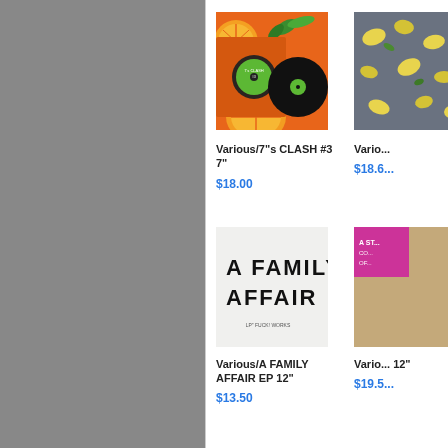[Figure (illustration): Gray sidebar panel on left side of page]
[Figure (photo): Album product image: 7's CLASH #3 7" - orange background with citrus fruits and vinyl record, green label]
Various/7"s CLASH #3 7"
$18.00
[Figure (photo): Partially visible album product image on right side, yellow/grey design]
Vario...
$18.6...
[Figure (photo): Album product image: A FAMILY AFFAIR EP 12" - white/grey background with large bold black text 'A FAMILY AFFAIR']
Various/A FAMILY AFFAIR EP 12"
$13.50
[Figure (photo): Partially visible album product on right side]
Vario... 12"
$19.5...